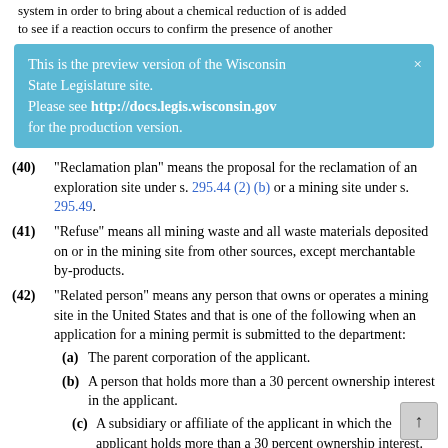system in order to bring about a chemical reduction of is added to see if a reaction occurs to confirm the presence of another
This is the preview version of the Wisconsin State Legislature site. Please see http://docs.legis.wisconsin.gov for the production version.
(40) "Reclamation plan" means the proposal for the reclamation of an exploration site under s. 295.44 (2) (b) or a mining site under s. 295.49.
(41) "Refuse" means all mining waste and all waste materials deposited on or in the mining site from other sources, except merchantable by-products.
(42) "Related person" means any person that owns or operates a mining site in the United States and that is one of the following when an application for a mining permit is submitted to the department:
(a) The parent corporation of the applicant.
(b) A person that holds more than a 30 percent ownership interest in the applicant.
(c) A subsidiary or affiliate of the applicant in which the applicant holds more than a 30 percent ownership interest.
(44) "Subsidence" means lateral or vertical ground movement caused by a failure, initiated at the mine, of a man-made underground mine, that directly damages residences or